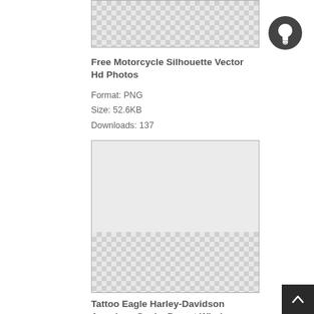[Figure (illustration): Transparent PNG placeholder with checkerboard pattern (top image, partially cropped)]
Free Motorcycle Silhouette Vector Hd Photos
Format: PNG
Size: 52.6KB
Downloads: 137
[Figure (illustration): Transparent PNG placeholder with checkerboard pattern on bottom portion (second image)]
Tattoo Eagle Harley-Davidson American Snake Desert Wind
Format: PNG